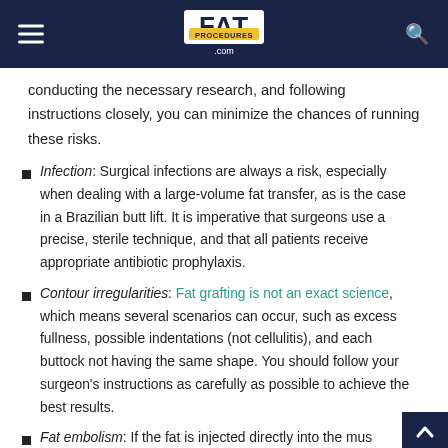FAT PROCEDURES .com
conducting the necessary research, and following instructions closely, you can minimize the chances of running these risks.
Infection: Surgical infections are always a risk, especially when dealing with a large-volume fat transfer, as is the case in a Brazilian butt lift. It is imperative that surgeons use a precise, sterile technique, and that all patients receive appropriate antibiotic prophylaxis.
Contour irregularities: Fat grafting is not an exact science, which means several scenarios can occur, such as excess fullness, possible indentations (not cellulitis), and each buttock not having the same shape. You should follow your surgeon's instructions as carefully as possible to achieve the best results.
Fat embolism: If the fat is injected directly into the mus…